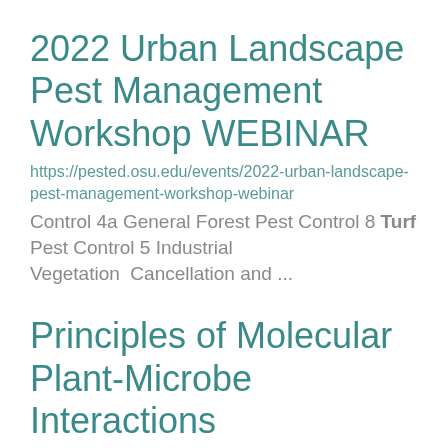2022 Urban Landscape Pest Management Workshop WEBINAR
https://pested.osu.edu/events/2022-urban-landscape-pest-management-workshop-webinar
Control 4a General Forest Pest Control 8 Turf Pest Control 5 Industrial Vegetation Cancellation and ...
Principles of Molecular Plant-Microbe Interactions
https://plantpath.osu.edu/courses/plntpth-5003
PLNTPTH 5003 Molecular bases of plant-microbe interactions ranging from how microbes cause disease ...